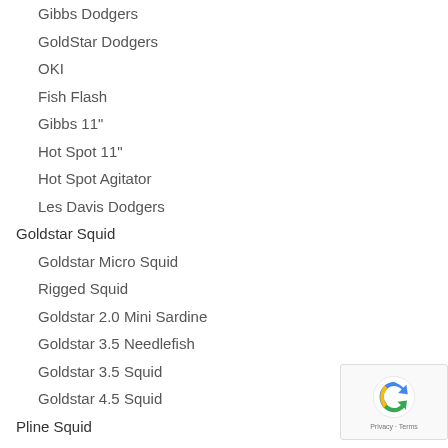Gibbs Dodgers
GoldStar Dodgers
OKI
Fish Flash
Gibbs 11"
Hot Spot 11"
Hot Spot Agitator
Les Davis Dodgers
Goldstar Squid
Goldstar Micro Squid
Rigged Squid
Goldstar 2.0 Mini Sardine
Goldstar 3.5 Needlefish
Goldstar 3.5 Squid
Goldstar 4.5 Squid
Pline Squid
Size SQ25
Sockeye Tackle
Sturgeon Tackle